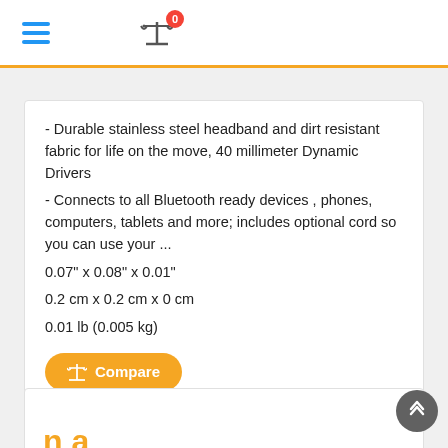Navigation header with hamburger menu and compare icon with badge 0
- Durable stainless steel headband and dirt resistant fabric for life on the move, 40 millimeter Dynamic Drivers
- Connects to all Bluetooth ready devices , phones, computers, tablets and more; includes optional cord so you can use your ...
0.07" x 0.08" x 0.01"
0.2 cm x 0.2 cm x 0 cm
0.01 lb (0.005 kg)
Compare
View full specs in table format
View in store